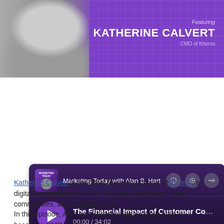[Figure (photo): Banner image featuring Katherine Calvert, CMO of Khoros. Left side shows a grayscale photo of a woman with long hair. Right side is a purple background with grid pattern, text reads 'Featuring KATHERINE CALVERT CMO of Khoros'.]
[Figure (screenshot): Podcast player screenshot for 'Marketing Today with Alan B. Hart'. Shows episode title 'The Financial Impact of Customer Co[mmunity]', time 00:00 / 34:02, play button, and audio waveform progress bar.]
Katherine Calvert is the Chief Marketing Officer of Khoros, a digital engagement platform for social marketing, online communities, and customer care.
In this episode, Alan and Katherine discuss her path to becoming CMO at Khoros and her perspective on